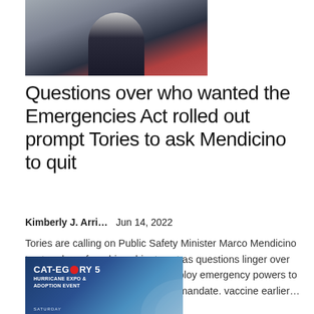[Figure (photo): Photo of a man in a dark suit and red tie speaking at a podium with a red and white background]
Questions over who wanted the Emergencies Act rolled out prompt Tories to ask Mendicino to quit
Kimberly J. Arri…    Jun 14, 2022
Tories are calling on Public Safety Minister Marco Mendicino to step down from his cabinet post as questions linger over who wanted the government to deploy emergency powers to end a protest against the anti-war mandate. vaccine earlier…
[Figure (photo): Advertisement or promotional image for CAT-EGORY 5 Hurricane Expo & Adoption Event on Saturday with blue background]